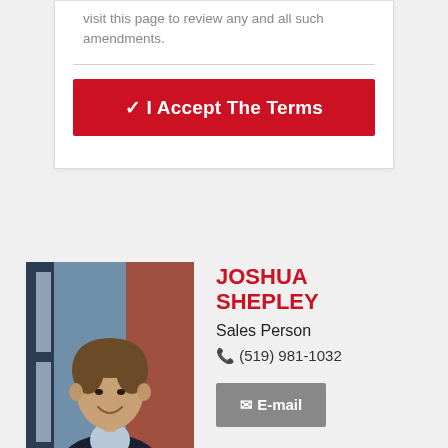visit this page to review any and all such amendments.
[Figure (other): Red 'I Accept The Terms' button with checkmark]
[Figure (photo): Headshot photo of Joshua Shepley, a young man in a suit, smiling, with a brick building visible in the background.]
JOSHUA SHEPLEY
Sales Person
(519) 981-1032
[Figure (other): Grey 'E-mail' button with envelope icon]